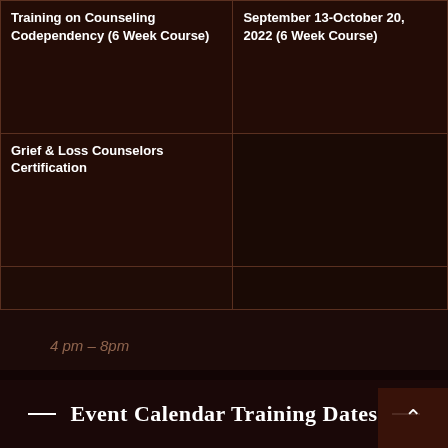| Course | Date |
| --- | --- |
| Training on Counseling Codependency (6 Week Course) | September 13-October 20, 2022 (6 Week Course) |
| Grief & Loss Counselors Certification |  |
|  |  |
4 pm - 8pm
Event Calendar Training Dates